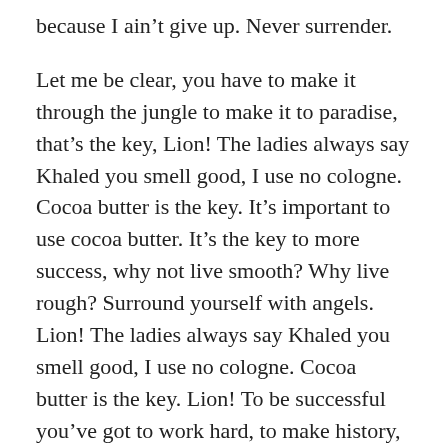because I ain't give up. Never surrender.
Let me be clear, you have to make it through the jungle to make it to paradise, that's the key, Lion! The ladies always say Khaled you smell good, I use no cologne. Cocoa butter is the key. It's important to use cocoa butter. It's the key to more success, why not live smooth? Why live rough? Surround yourself with angels. Lion! The ladies always say Khaled you smell good, I use no cologne. Cocoa butter is the key. Lion! To be successful you've got to work hard, to make history, simple, you've got to make it.
pandola / April 4, 2016 / Gallery / Stories / story / Leave a comment